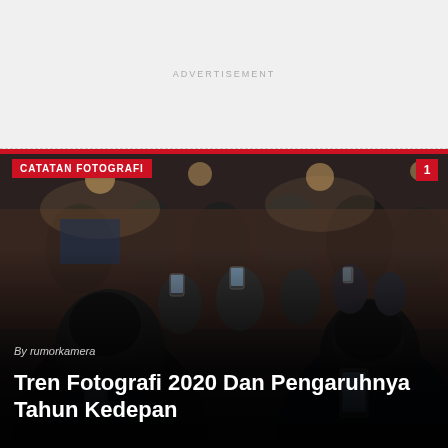ADVERTISEMENT
CATATAN FOTOGRAFI
[Figure (photo): Group of people photographing with smartphones at an indoor event, seen from behind]
By rumorkamera
Tren Fotografi 2020 Dan Pengaruhnya Tahun Kedepan
Pilih Kamera DSLR Atau Mirrorless, Mana Yang Lebih Baik ?